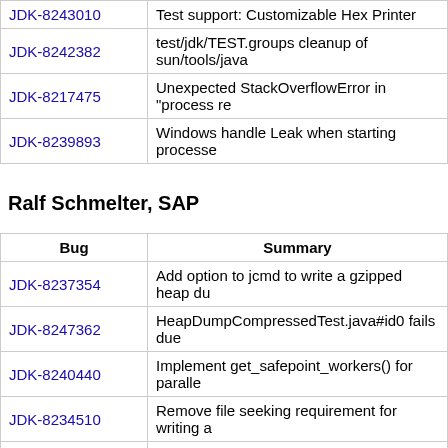| Bug | Summary |
| --- | --- |
| JDK-8243010 | Test support: Customizable Hex Printer |
| JDK-8242382 | test/jdk/TEST.groups cleanup of sun/tools/java |
| JDK-8217475 | Unexpected StackOverflowError in "process re |
| JDK-8239893 | Windows handle Leak when starting processe |
Ralf Schmelter, SAP
| Bug | Summary |
| --- | --- |
| JDK-8237354 | Add option to jcmd to write a gzipped heap du |
| JDK-8247362 | HeapDumpCompressedTest.java#id0 fails due |
| JDK-8240440 | Implement get_safepoint_workers() for paralle |
| JDK-8234510 | Remove file seeking requirement for writing a |
| JDK-8238289 | Use _byteswap_ functions to implement Bytes |
Sergey Bylokhov, Amazon
| Bug | Summary |
| --- | --- |